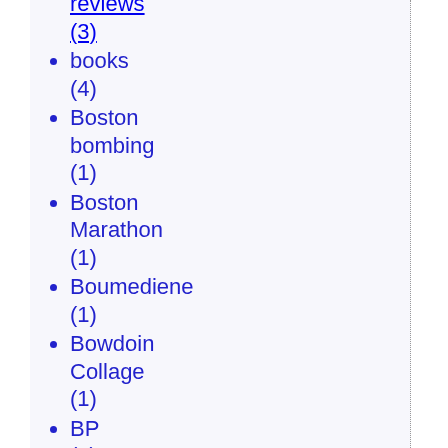reviews (3)
books (4)
Boston bombing (1)
Boston Marathon (1)
Boumediene (1)
Bowdoin Collage (1)
BP (1)
brain death (6)
Brandenburg Concerto no. 5 (1)